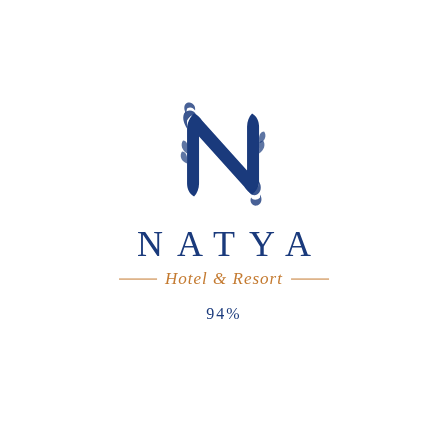[Figure (logo): Natya Hotel & Resort logo: ornate blue letter N monogram above the text NATYA in spaced blue capitals, with 'Hotel & Resort' in orange italic script flanked by horizontal lines, and '94%' below in blue.]
94%